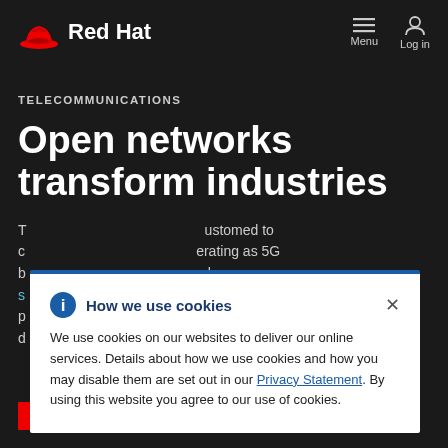Red Hat — Menu / Log in
TELECOMMUNICATIONS
Open networks transform industries
The telecommunications industry is accustomed to delivering services operating as 5G becomes widespread, much - software complexity gives service providers the ability to customers' demands.
[Figure (screenshot): Cookie consent dialog overlay with Red Hat logo header. Dialog title: 'How we use cookies'. Body text: 'We use cookies on our websites to deliver our online services. Details about how we use cookies and how you may disable them are set out in our Privacy Statement. By using this website you agree to our use of cookies.']